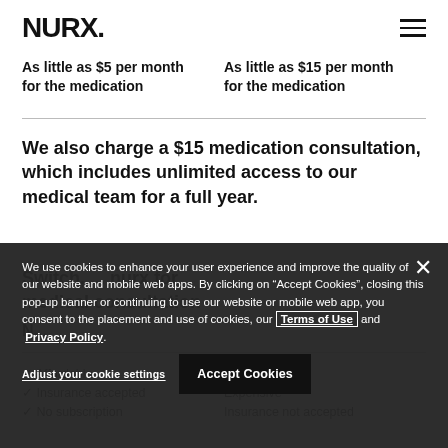NURX.
As little as $5 per month for the medication
As little as $15 per month for the medication
We also charge a $15 medication consultation, which includes unlimited access to our medical team for a full year.
Switch, ... nurx for medical consultation
N...
✓ Affordable
✓ Insurance accepted
✓ No subscription
Expensive
Insurance not accepted
We use cookies to enhance your user experience and improve the quality of our website and mobile web apps. By clicking on "Accept Cookies", closing this pop-up banner or continuing to use our website or mobile web app, you consent to the placement and use of cookies, our Terms of Use and Privacy Policy.
Adjust your cookie settings
Accept Cookies